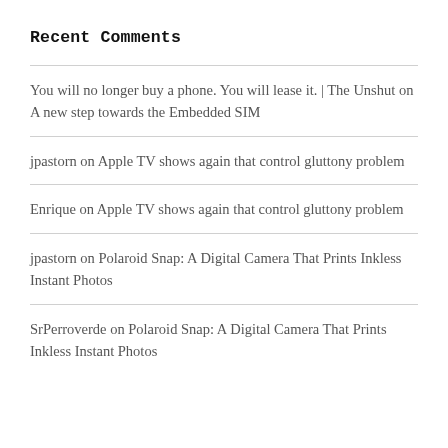Recent Comments
You will no longer buy a phone. You will lease it. | The Unshut on A new step towards the Embedded SIM
jpastorn on Apple TV shows again that control gluttony problem
Enrique on Apple TV shows again that control gluttony problem
jpastorn on Polaroid Snap: A Digital Camera That Prints Inkless Instant Photos
SrPerroverde on Polaroid Snap: A Digital Camera That Prints Inkless Instant Photos